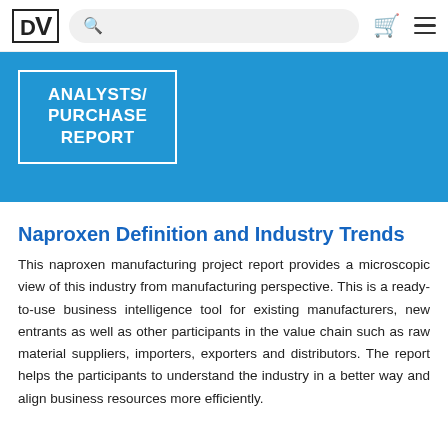DV [logo] | Search bar | Cart icon | Hamburger menu
[Figure (other): Blue banner with white-bordered button labeled ANALYSTS/ PURCHASE REPORT]
Naproxen Definition and Industry Trends
This naproxen manufacturing project report provides a microscopic view of this industry from manufacturing perspective. This is a ready-to-use business intelligence tool for existing manufacturers, new entrants as well as other participants in the value chain such as raw material suppliers, importers, exporters and distributors. The report helps the participants to understand the industry in a better way and align business resources more efficiently.